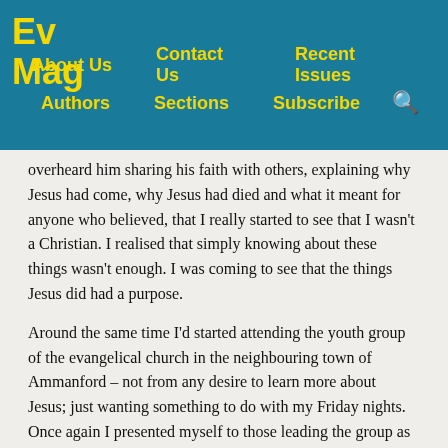Ev Mag | About Us | Contact Us | Recent Issues | Authors | Sections | Subscribe
overheard him sharing his faith with others, explaining why Jesus had come, why Jesus had died and what it meant for anyone who believed, that I really started to see that I wasn't a Christian. I realised that simply knowing about these things wasn't enough. I was coming to see that the things Jesus did had a purpose.
Around the same time I'd started attending the youth group of the evangelical church in the neighbouring town of Ammanford – not from any desire to learn more about Jesus; just wanting something to do with my Friday nights. Once again I presented myself to those leading the group as a believer and someone